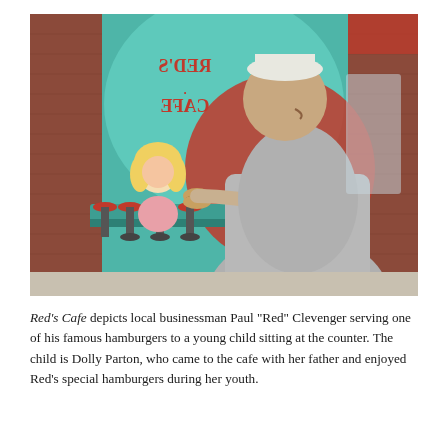[Figure (photo): A large mural painted on a brick building exterior showing a diner scene. A waiter wearing a paper hat serves a hamburger to a young blonde girl sitting at a counter with red stools. Text on the mural reads 'Red's Cafe' (mirrored/reversed). The mural features teal, red, and grey tones on a brick background. The scene is painted in a retro 1950s style.]
Red's Cafe depicts local businessman Paul "Red" Clevenger serving one of his famous hamburgers to a young child sitting at the counter. The child is Dolly Parton, who came to the cafe with her father and enjoyed Red's special hamburgers during her youth.